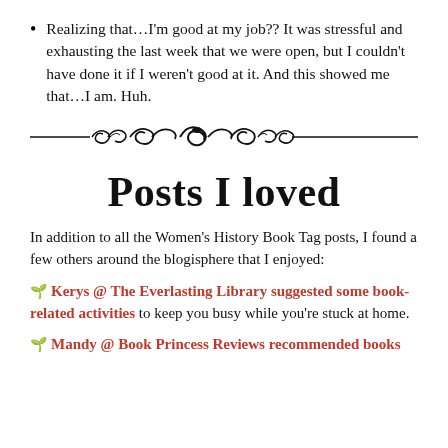Realizing that...I'm good at my job?? It was stressful and exhausting the last week that we were open, but I couldn't have done it if I weren't good at it. And this showed me that...I am. Huh.
[Figure (illustration): Decorative ornamental divider line with scrollwork]
Posts I loved
In addition to all the Women's History Book Tag posts, I found a few others around the blogisphere that I enjoyed:
🌱 Kerys @ The Everlasting Library suggested some book-related activities to keep you busy while you're stuck at home.
🌱 Mandy @ Book Princess Reviews recommended books